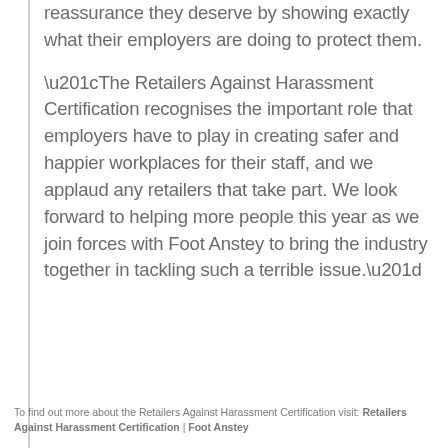reassurance they deserve by showing exactly what their employers are doing to protect them.
“The Retailers Against Harassment Certification recognises the important role that employers have to play in creating safer and happier workplaces for their staff, and we applaud any retailers that take part. We look forward to helping more people this year as we join forces with Foot Anstey to bring the industry together in tackling such a terrible issue.”
To find out more about the Retailers Against Harassment Certification visit: Retailers Against Harassment Certification | Foot Anstey